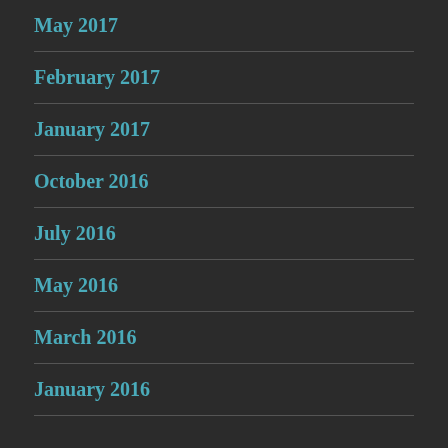May 2017
February 2017
January 2017
October 2016
July 2016
May 2016
March 2016
January 2016